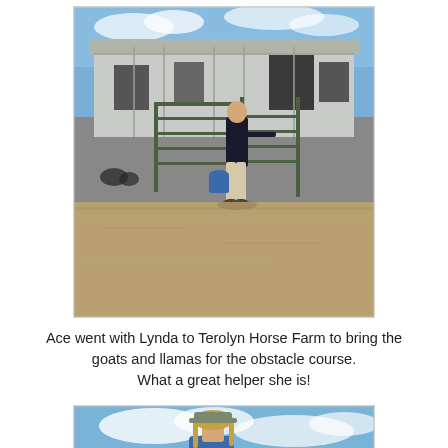[Figure (photo): A person standing at a metal gate/pen at a farm, with a large metal barn/building in the background. Sandy dirt ground visible. Some animals in background pens.]
Ace went with Lynda to Terolyn Horse Farm to bring the goats and llamas for the obstacle course. What a great helper she is!
[Figure (photo): Partial photo of a person with blonde hair wearing a blue shirt, with blue sky and clouds visible in background.]